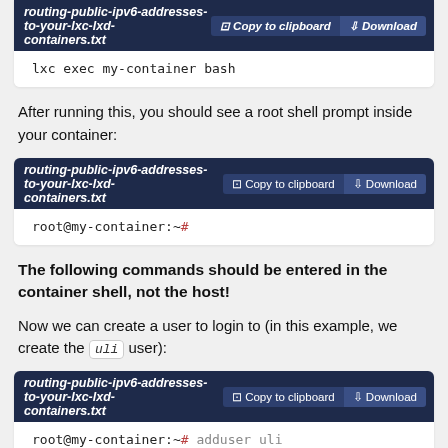[Figure (screenshot): Code block header showing filename 'routing-public-ipv6-addresses-to-your-lxc-lxd-containers.txt' with Copy to clipboard and Download buttons, partially cut off at top]
lxc exec my-container bash
After running this, you should see a root shell prompt inside your container:
[Figure (screenshot): Code block with header 'routing-public-ipv6-addresses-to-your-lxc-lxd-containers.txt' and buttons, body shows: root@my-container:~#]
The following commands should be entered in the container shell, not the host!
Now we can create a user to login to (in this example, we create the uli user):
[Figure (screenshot): Code block with header 'routing-public-ipv6-addresses-to-your-lxc-lxd-containers.txt' and buttons, body shows: root@my-container:~# adduser uli / Adding user 'uli']